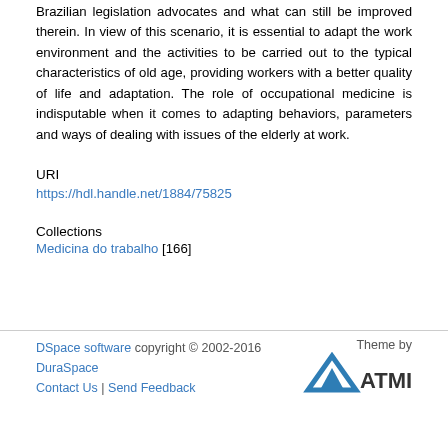Brazilian legislation advocates and what can still be improved therein. In view of this scenario, it is essential to adapt the work environment and the activities to be carried out to the typical characteristics of old age, providing workers with a better quality of life and adaptation. The role of occupational medicine is indisputable when it comes to adapting behaviors, parameters and ways of dealing with issues of the elderly at work.
URI
https://hdl.handle.net/1884/75825
Collections
Medicina do trabalho [166]
DSpace software copyright © 2002-2016  DuraSpace  Contact Us | Send Feedback  Theme by ATMIRE